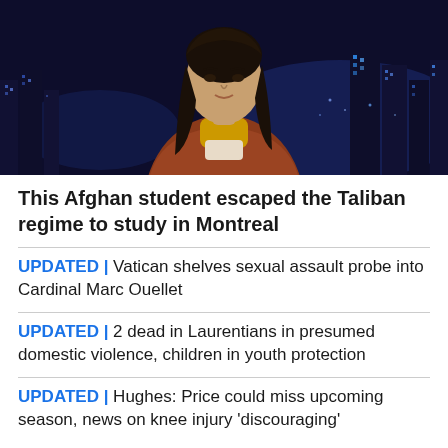[Figure (photo): A young woman with long dark hair wearing a rust/brown jacket over a yellow turtleneck and cream top, posed in front of a night cityscape background with blue city lights.]
This Afghan student escaped the Taliban regime to study in Montreal
UPDATED | Vatican shelves sexual assault probe into Cardinal Marc Ouellet
UPDATED | 2 dead in Laurentians in presumed domestic violence, children in youth protection
UPDATED | Hughes: Price could miss upcoming season, news on knee injury 'discouraging'